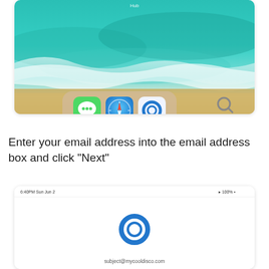[Figure (screenshot): iOS home screen screenshot showing ocean/beach aerial wallpaper with dock containing Messages (green), Safari (blue compass), and an app with a blue ring logo. A search icon visible to the right.]
Enter your email address into the email address box and click "Next"
[Figure (screenshot): iOS app screenshot showing a blue ring/circle logo app icon centered on screen with an email address field at the bottom showing 'subject@mycooldisco.com'. Status bar shows time '6:40PM Sun Jun 2' and battery '100%'.]